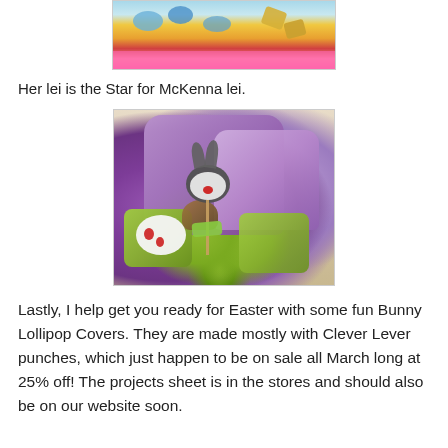[Figure (photo): Top portion of a photo showing colorful foil-wrapped items or decorations with pink border, partially cropped at top of page]
Her lei is the Star for McKenna lei.
[Figure (photo): Photo of purple and green Clever Lever paper punches alongside a handmade bunny lollipop cover craft with a cartoon bunny face, ears, and decorative elements on a beige surface]
Lastly, I help get you ready for Easter with some fun Bunny Lollipop Covers. They are made mostly with Clever Lever punches, which just happen to be on sale all March long at 25% off! The projects sheet is in the stores and should also be on our website soon.